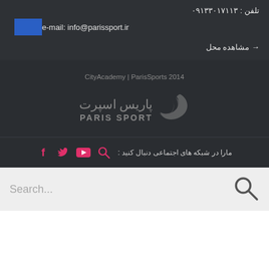تلفن : ۰۹۱۳۳۰۱۷۱۱۳
e-mail: info@parissport.ir
→ مشاهده محل
CityAcademy | ParisSports 2014
[Figure (logo): Paris Sport logo with Persian text پاریس اسپرت and English PARIS SPORT with a bird/wing icon]
مارا در شبکه های اجتماعی دنبال کنید :
Search...